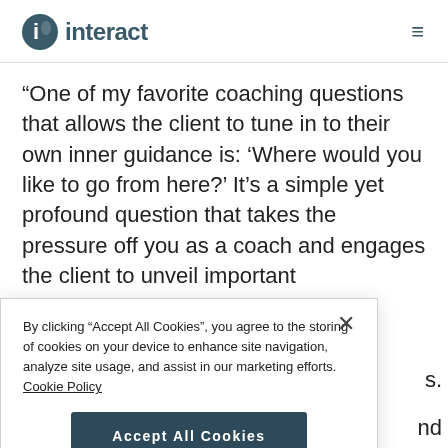interact
“One of my favorite coaching questions that allows the client to tune in to their own inner guidance is: ‘Where would you like to go from here?’ It’s a simple yet profound question that takes the pressure off you as a coach and engages the client to unveil important
By clicking “Accept All Cookies”, you agree to the storing of cookies on your device to enhance site navigation, analyze site usage, and assist in our marketing efforts. Cookie Policy
Accept All Cookies
Cookies Settings